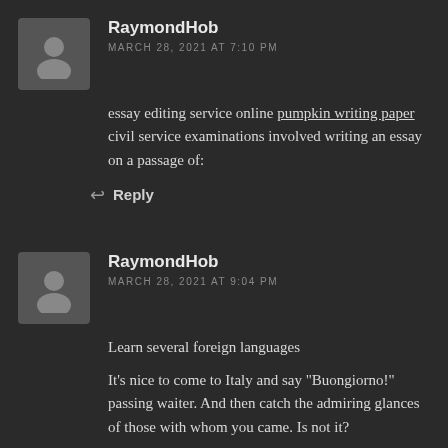RaymondHob
MARCH 28, 2021 AT 7:10 PM
essay editing service online pumpkin writing paper civil service examinations involved writing an essay on a passage of:
Reply
RaymondHob
MARCH 28, 2021 AT 9:04 PM
Learn several foreign languages
It's nice to come to Italy and say "Buongiorno!" passing waiter. And then catch the admiring glances of those with whom you came. Is not it?